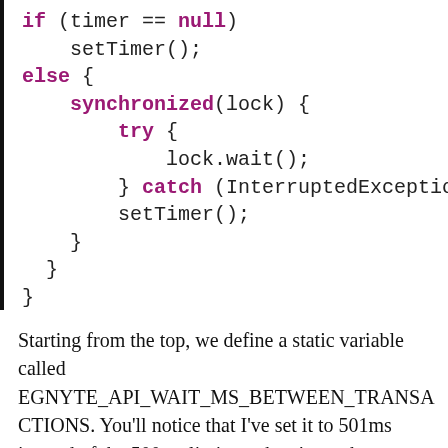if (timer == null)
    setTimer();
else {
    synchronized(lock) {
        try {
            lock.wait();
        } catch (InterruptedException
        setTimer();
    }
}
}
Starting from the top, we define a static variable called EGNYTE_API_WAIT_MS_BETWEEN_TRANSACTIONS. You'll notice that I've set it to 501ms instead of the 500ms limit, so there's no chance a boundary case is hit and you get blocked. The RETRY_API_CALL_TIMES static